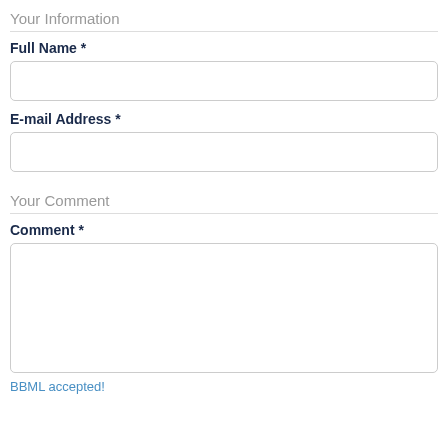Your Information
Full Name *
E-mail Address *
Your Comment
Comment *
BBML accepted!